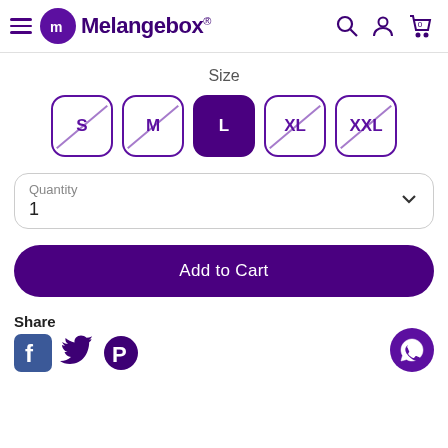Melangebox® — navigation header with hamburger menu, logo, search, account, and cart icons
Size
S  M  L  XL  XXL — size selector buttons; S and M are crossed out (unavailable), L is selected (active), XL and XXL are crossed out
Quantity
1
Add to Cart
Share
[Figure (illustration): Facebook, Twitter/X, and Pinterest social share icons]